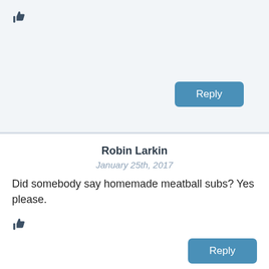[Figure (other): Thumbs up icon]
Reply
Robin Larkin
January 25th, 2017
Did somebody say homemade meatball subs? Yes please.
[Figure (other): Thumbs up icon]
Reply
Tracy Shedroff